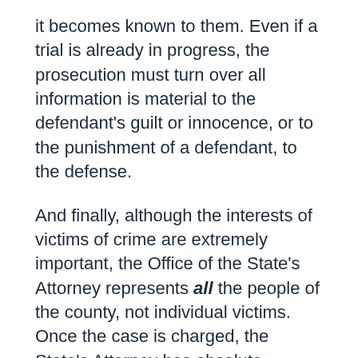it becomes known to them. Even if a trial is already in progress, the prosecution must turn over all information is material to the defendant's guilt or innocence, or to the punishment of a defendant, to the defense.
And finally, although the interests of victims of crime are extremely important, the Office of the State's Attorney represents all the people of the county, not individual victims. Once the case is charged, the State's Attorney has absolute discretion over how to proceed, if at all, with the prosecution. Though it will always take into consideration the wishes of a victim, only the State's Attorney's Office has the authority to decide to “drop the charges.” This means that